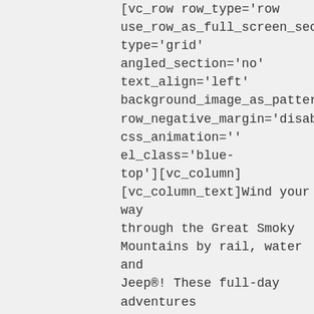[vc_row row_type='row use_row_as_full_screen_section='no' type='grid' angled_section='no' text_align='left' background_image_as_pattern='without_pattern' row_negative_margin='disable_negative_margin' css_animation='' el_class='blue-top'][vc_column][vc_column_text]Wind your way through the Great Smoky Mountains by rail, water and Jeep®! These full-day adventures blend the excitement of whitewater rafting or a zipline canopy tour with the unforgettable thrills of a train or Jeep®...